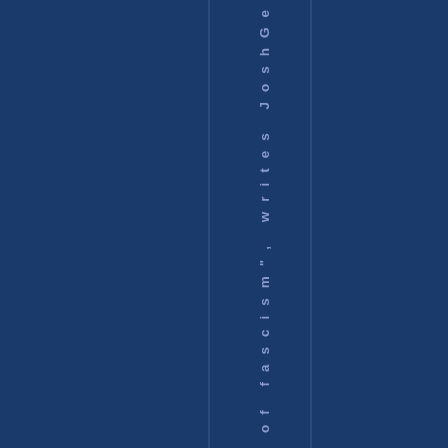reverts of fascism", writes JoshGe